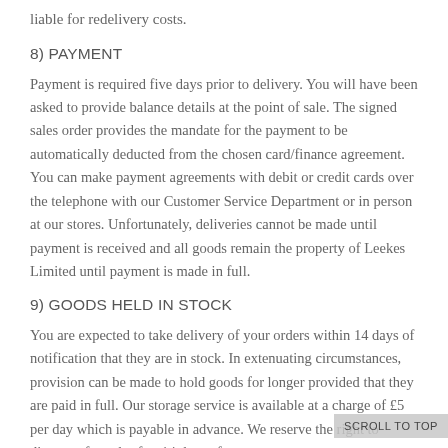liable for redelivery costs.
8) PAYMENT
Payment is required five days prior to delivery. You will have been asked to provide balance details at the point of sale. The signed sales order provides the mandate for the payment to be automatically deducted from the chosen card/finance agreement. You can make payment agreements with debit or credit cards over the telephone with our Customer Service Department or in person at our stores. Unfortunately, deliveries cannot be made until payment is received and all goods remain the property of Leekes Limited until payment is made in full.
9) GOODS HELD IN STOCK
You are expected to take delivery of your orders within 14 days of notification that they are in stock. In extenuating circumstances, provision can be made to hold goods for longer provided that they are paid in full. Our storage service is available at a charge of £5 per day which is payable in advance. We reserve the right to dispose of goods after 14 days of